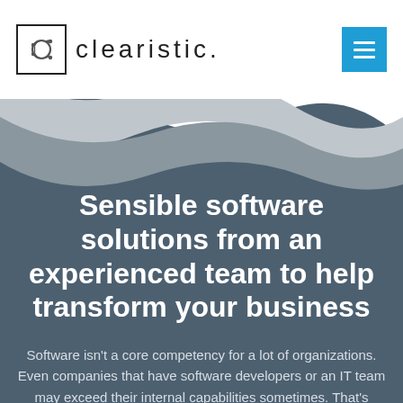[Figure (logo): Clearistic logo with boxed 'C' icon and wordmark 'clearistic.']
[Figure (illustration): Blue hamburger menu button (three horizontal white lines on blue background)]
[Figure (illustration): Wave-shaped decorative background transitioning from white/light gray at top to dark slate blue below]
Sensible software solutions from an experienced team to help transform your business
Software isn't a core competency for a lot of organizations. Even companies that have software developers or an IT team may exceed their internal capabilities sometimes. That's where the Clearistic Technology team, with our years of experience designing and developing software solutions, can yield high quality